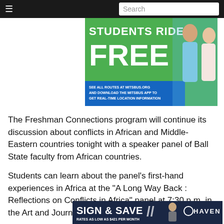≡  Search
[Figure (photo): Advertisement banner showing two students holding phones with text 'STUDENTS RIDE FREE' on green background, with MITSBUS branding and instructions to see routes at mitsbus.org]
The Freshman Connections program will continue its discussion about conflicts in African and Middle-Eastern countries tonight with a speaker panel of Ball State faculty from African countries.
Students can learn about the panel's first-hand experiences in Africa at the "A Long Way Back : Reflections on Conflicts in Africa" panel at 7:30 p.m. in the Art and Journalism Building Room 2
[Figure (photo): Advertisement banner: SIGN & SAVE - RATES AS LOW AS $421 PER MONTH - HAVEN logo with woman in sunglasses]